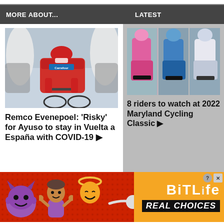MORE ABOUT...  |  LATEST
[Figure (photo): Cyclists in a race, one wearing a red jersey with Carrefour logo, surrounded by people in white]
Remco Evenepoel: 'Risky' for Ayuso to stay in Vuelta a España with COVID-19 ▶
[Figure (photo): Three cyclists racing: one in pink jersey, one in blue/white, one in white jersey]
8 riders to watch at 2022 Maryland Cycling Classic ▶
[Figure (infographic): Advertisement banner for BitLife app with emoji characters (devil, person shrugging, angel) and text REAL CHOICES on red background]